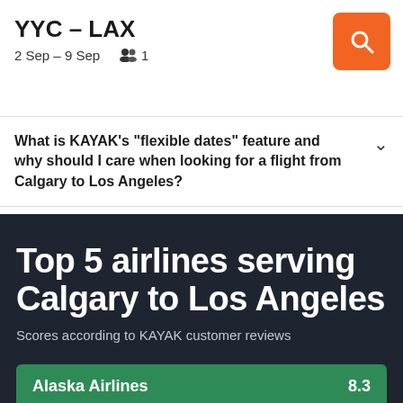YYC – LAX
2 Sep – 9 Sep   👥 1
What is KAYAK's "flexible dates" feature and why should I care when looking for a flight from Calgary to Los Angeles?
Top 5 airlines serving Calgary to Los Angeles
Scores according to KAYAK customer reviews
| Airline | Score |
| --- | --- |
| Alaska Airlines | 8.3 |